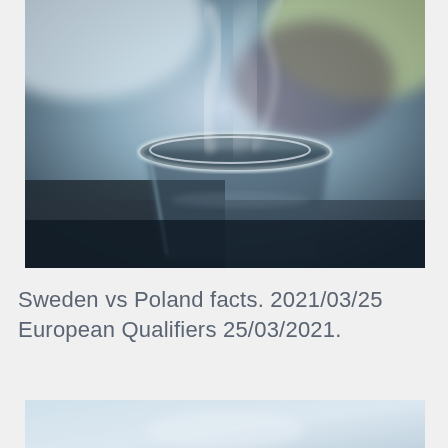[Figure (photo): A close-up blurred photo of a steaming metallic cup or container, with soft bokeh background in blue and green tones. Steam rises from the top of the cup.]
Sweden vs Poland facts. 2021/03/25 European Qualifiers 25/03/2021.
[Figure (photo): Partially visible photo at bottom of page, appearing to be another blurred sports or general interest image in light blue/white tones.]